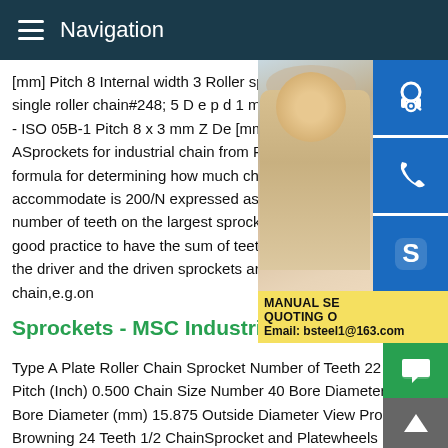Navigation
[mm] Pitch 8 Internal width 3 Roller special single roller chain#248; 5 D e p d 1 m B 1 - ISO 05B-1 Pitch 8 x 3 mm Z De [mm] Dp ASprockets for industrial chain from Renol formula for determining how much chain e accommodate is 200/N expressed as a pe number of teeth on the largest sprocket in good practice to have the sum of teeth not the driver and the driven sprockets are op chain,e.g.on
[Figure (photo): Woman with headset customer service representative photo, partially cropped on right side]
[Figure (infographic): Three blue icon buttons: headset/support, phone, Skype; and yellow promo box with text MANUAL SE, QUOTING O, Email: bsteel1@163.com]
Sprockets - MSC Industrial Supply
Type A Plate Roller Chain Sprocket Number of Teeth 22 Chain Pitch (Inch) 0.500 Chain Size Number 40 Bore Diameter (Inch) Bore Diameter (mm) 15.875 Outside Diameter View Product Browning 24 Teeth 1/2 ChainSprocket and Platewheels